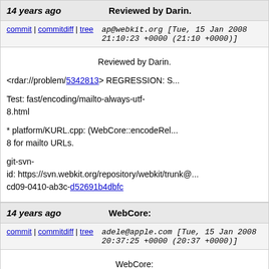14 years ago   Reviewed by Darin.
commit | commitdiff | tree   ap@webkit.org [Tue, 15 Jan 2008 21:10:23 +0000 (21:10 +0000)]
Reviewed by Darin.

<rdar://problem/5342813> REGRESSION: S...

Test: fast/encoding/mailto-always-utf-8.html

* platform/KURL.cpp: (WebCore::encodeRel... 8 for mailto URLs.

git-svn-id: https://svn.webkit.org/repository/webkit/trunk@... cd09-0410-ab3c-d52691b4dbfc
14 years ago   WebCore:
commit | commitdiff | tree   adele@apple.com [Tue, 15 Jan 2008 20:37:25 +0000 (20:37 +0000)]
WebCore:

Reviewed by Adam and Antti.